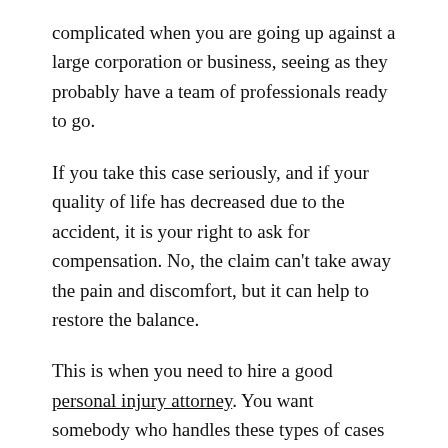complicated when you are going up against a large corporation or business, seeing as they probably have a team of professionals ready to go.
If you take this case seriously, and if your quality of life has decreased due to the accident, it is your right to ask for compensation. No, the claim can't take away the pain and discomfort, but it can help to restore the balance.
This is when you need to hire a good personal injury attorney. You want somebody who handles these types of cases on a daily basis, and you want them to have extensive experience. In fact, if you can get one with an impressive reputation, it is recommended. Within the legal community, an attorney's reputation can help to win a case.
Do yourself a favor and schedule a few consultations. Get